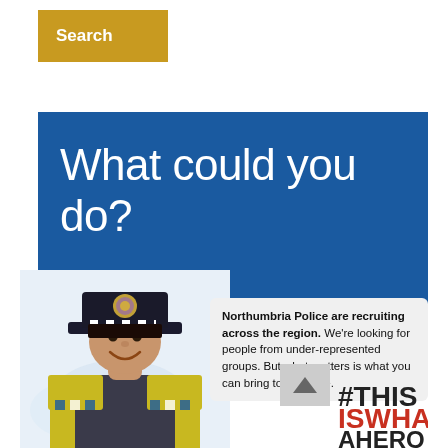Search
[Figure (photo): Gold/amber coloured Search button in top left corner]
What could you do?
[Figure (photo): Female Northumbria Police officer in uniform smiling, wearing black hat with police badge and hi-vis vest]
Northumbria Police are recruiting across the region. We're looking for people from under-represented groups. But what matters is what you can bring to our force.
[Figure (other): #THISISWHATAHERO hashtag logo in bottom right]